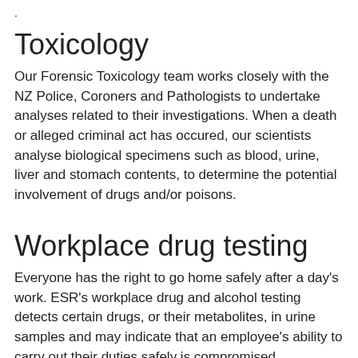.
Toxicology
Our Forensic Toxicology team works closely with the NZ Police, Coroners and Pathologists to undertake analyses related to their investigations. When a death or alleged criminal act has occured, our scientists analyse biological specimens such as blood, urine, liver and stomach contents, to determine the potential involvement of drugs and/or poisons.
Workplace drug testing
Everyone has the right to go home safely after a day's work. ESR's workplace drug and alcohol testing detects certain drugs, or their metabolites, in urine samples and may indicate that an employee's ability to carry out their duties safely is compromised, presenting a danger not only to the employee but also potentially to work